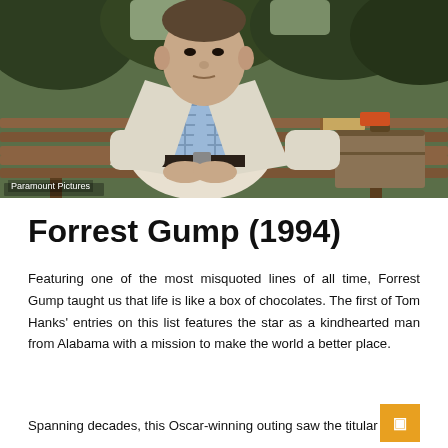[Figure (photo): Man in a light suit and plaid shirt sitting on a park bench with a suitcase beside him. Trees visible in background. Paramount Pictures watermark in bottom left corner.]
Paramount Pictures
Forrest Gump (1994)
Featuring one of the most misquoted lines of all time, Forrest Gump taught us that life is like a box of chocolates. The first of Tom Hanks' entries on this list features the star as a kindhearted man from Alabama with a mission to make the world a better place.
Spanning decades, this Oscar-winning outing saw the titular Forrest